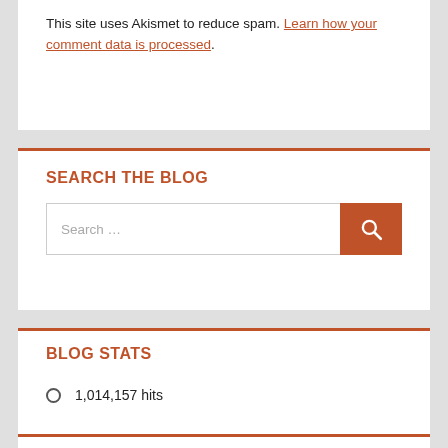This site uses Akismet to reduce spam. Learn how your comment data is processed.
SEARCH THE BLOG
Search ...
BLOG STATS
1,014,157 hits
RECENT COMMENTS